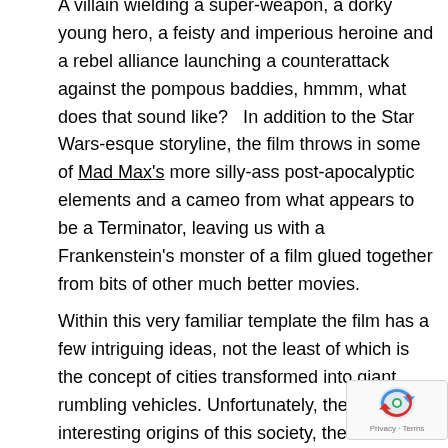A villain wielding a super-weapon, a dorky young hero, a feisty and imperious heroine and a rebel alliance launching a counterattack against the pompous baddies, hmmm, what does that sound like?   In addition to the Star Wars-esque storyline, the film throws in some of Mad Max's more silly-ass post-apocalyptic elements and a cameo from what appears to be a Terminator, leaving us with a Frankenstein's monster of a film glued together from bits of other much better movies.
Within this very familiar template the film has a few intriguing ideas, not the least of which is the concept of cities transformed into giant rumbling vehicles. Unfortunately, the potentially interesting origins of this society, the complexities of this post-holocaust world and any commentary about globalisation and all-consuming capitalism are quickly shoved aside for...